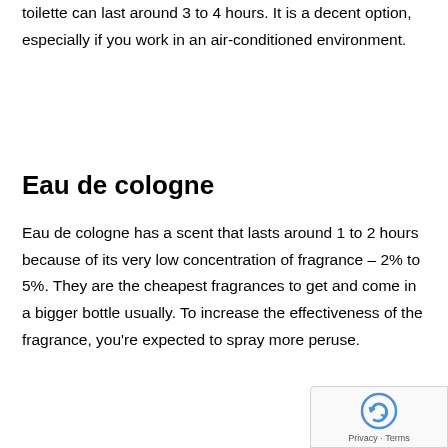toilette can last around 3 to 4 hours. It is a decent option, especially if you work in an air-conditioned environment.
Eau de cologne
Eau de cologne has a scent that lasts around 1 to 2 hours because of its very low concentration of fragrance – 2% to 5%. They are the cheapest fragrances to get and come in a bigger bottle usually. To increase the effectiveness of the fragrance, you're expected to spray more peruse.